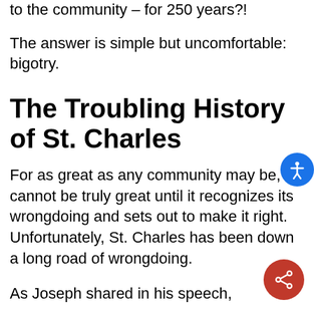to the community – for 250 years?!
The answer is simple but uncomfortable: bigotry.
The Troubling History of St. Charles
For as great as any community may be, it cannot be truly great until it recognizes its wrongdoing and sets out to make it right. Unfortunately, St. Charles has been down a long road of wrongdoing.
As Joseph shared in his speech,